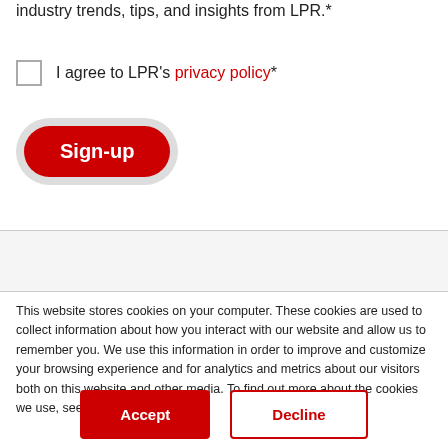industry trends, tips, and insights from LPR.*
I agree to LPR's privacy policy*
Sign-up
This website stores cookies on your computer. These cookies are used to collect information about how you interact with our website and allow us to remember you. We use this information in order to improve and customize your browsing experience and for analytics and metrics about our visitors both on this website and other media. To find out more about the cookies we use, see our Privacy Policy.
Accept
Decline